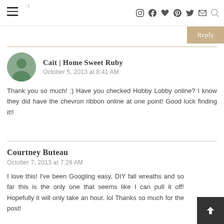:) [hamburger menu] [social icons: instagram, facebook, heart, pinterest, twitter, email, search]
Reply
Cait | Home Sweet Ruby
October 5, 2013 at 8:41 AM

Thank you so much! :) Have you checked Hobby Lobby online? I know they did have the chevron ribbon online at one point! Good luck finding it!!
Courtney Buteau
October 7, 2013 at 7:28 AM

I love this! I've been Googling easy, DIY fall wreaths and so far this is the only one that seems like I can pull it off! Hopefully it will only take an hour. lol Thanks so much for the post!